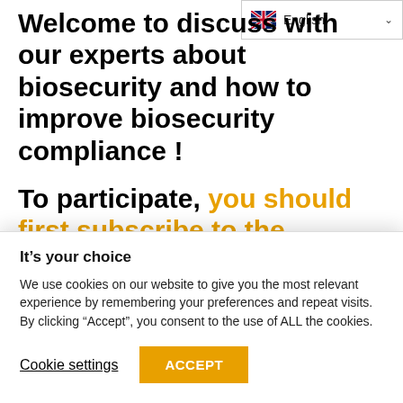[Figure (screenshot): English language selector dropdown button with UK flag in top-right corner]
Welcome to discuss with our experts about biosecurity and how to improve biosecurity compliance !
To participate, you should first subscribe to the forum by clicking on the “register” button at top of this page.
It’s your choice
We use cookies on our website to give you the most relevant experience by remembering your preferences and repeat visits. By clicking “Accept”, you consent to the use of ALL the cookies.
Cookie settings
ACCEPT